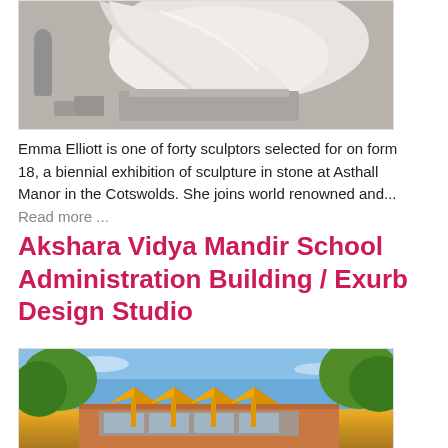[Figure (photo): Close-up photo of a white stone sculpture being carved, with a large curved tusk or horn shape visible, workshop setting with tools and stone blocks around]
Emma Elliott is one of forty sculptors selected for on form 18, a biennial exhibition of sculpture in stone at Asthall Manor in the Cotswolds. She joins world renowned and... Read more ...
Akshara Vidya Mandir School Administration Building / Exurb Design Studio
[Figure (photo): Photo of a school administration building with distinctive yellow geometric diamond-shaped canopy structures supported by yellow columns at the entrance, surrounded by green trees against a blue sky]